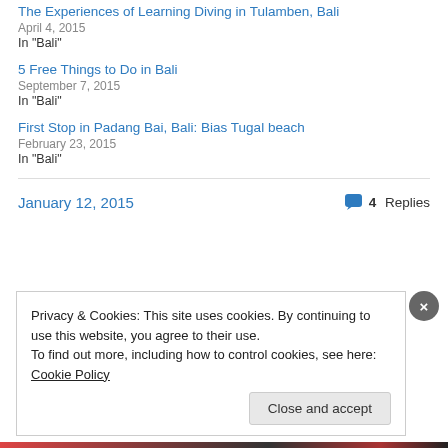The Experiences of Learning Diving in Tulamben, Bali
April 4, 2015
In "Bali"
5 Free Things to Do in Bali
September 7, 2015
In "Bali"
First Stop in Padang Bai, Bali: Bias Tugal beach
February 23, 2015
In "Bali"
January 12, 2015    4 Replies
Privacy & Cookies: This site uses cookies. By continuing to use this website, you agree to their use. To find out more, including how to control cookies, see here: Cookie Policy
Close and accept